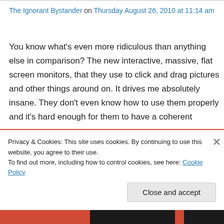The Ignorant Bystander on Thursday August 26, 2010 at 11:14 am
You know what's even more ridiculous than anything else in comparison? The new interactive, massive, flat screen monitors, that they use to click and drag pictures and other things around on. It drives me absolutely insane. They don't even know how to use them properly and it's hard enough for them to have a coherent
Privacy & Cookies: This site uses cookies. By continuing to use this website, you agree to their use.
To find out more, including how to control cookies, see here: Cookie Policy
Close and accept